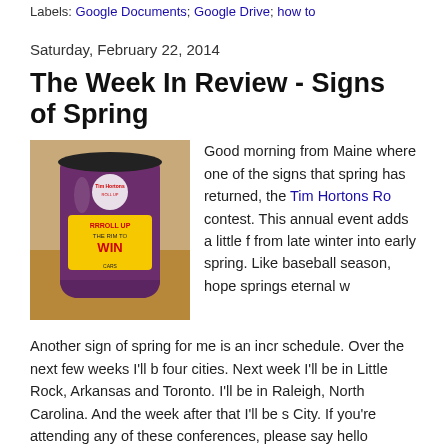Labels: Google Documents; Google Drive; how to
Saturday, February 22, 2014
The Week In Review - Signs of Spring
[Figure (photo): Tim Hortons Roll Up The Rim To Win coffee cup on a wooden surface]
Good morning from Maine where one of the signs that spring has returned, the Tim Hortons Roll Up The Rim contest. This annual event adds a little from late winter into early spring. Like baseball season, hope springs eternal w
Another sign of spring for me is an increasing travel schedule. Over the next few weeks I'll be visiting four cities. Next week I'll be in Little Rock, Arkansas and Toronto. I'll be in Raleigh, North Carolina. And the week after that I'll be s City. If you're attending any of these conferences, please say hello
Here are this week's most popular posts:
1. How to Use Google Slides to Organize Research
2. Rubrics for Blogging and Multimedia Projects